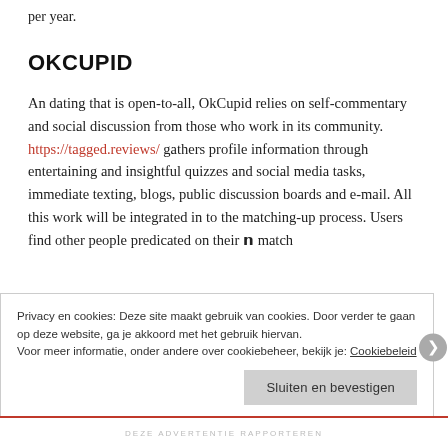per year.
OKCUPID
An dating that is open-to-all, OkCupid relies on self-commentary and social discussion from those who work in its community. https://tagged.reviews/ gathers profile information through entertaining and insightful quizzes and social media tasks, immediate texting, blogs, public discussion boards and e-mail. All this work will be integrated in to the matching-up process. Users find other people predicated on their 𝗻 match
Privacy en cookies: Deze site maakt gebruik van cookies. Door verder te gaan op deze website, ga je akkoord met het gebruik hiervan.
Voor meer informatie, onder andere over cookiebeheer, bekijk je: Cookiebeleid
Sluiten en bevestigen